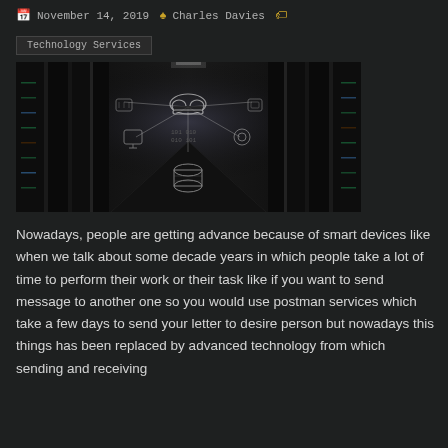November 14, 2019  Charles Davies
Technology Services
[Figure (photo): Dark data center corridor with server racks on both sides and overlaid cloud computing network icons and connection lines in the center]
Nowadays, people are getting advance because of smart devices like when we talk about some decade years in which people take a lot of time to perform their work or their task like if you want to send message to another one so you would use postman services which take a few days to send your letter to desire person but nowadays this things has been replaced by advanced technology from which sending and receiving